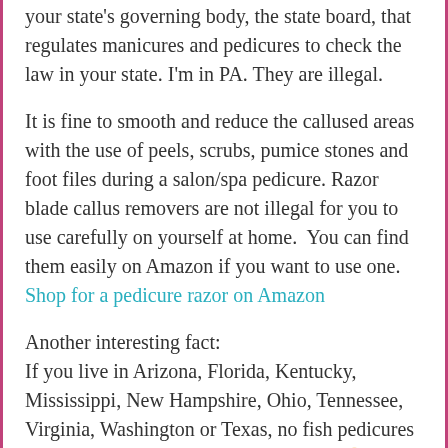your state's governing body, the state board, that regulates manicures and pedicures to check the law in your state. I'm in PA. They are illegal.
It is fine to smooth and reduce the callused areas with the use of peels, scrubs, pumice stones and foot files during a salon/spa pedicure. Razor blade callus removers are not illegal for you to use carefully on yourself at home.  You can find them easily on Amazon if you want to use one. Shop for a pedicure razor on Amazon
Another interesting fact:
If you live in Arizona, Florida, Kentucky, Mississippi, New Hampshire, Ohio, Tennessee, Virginia, Washington or Texas, no fish pedicures for you! They are illegal in those states.🙁
Are the Pedicure Tools Clean?
Make sure the nail files, foot files and orangewood sticks